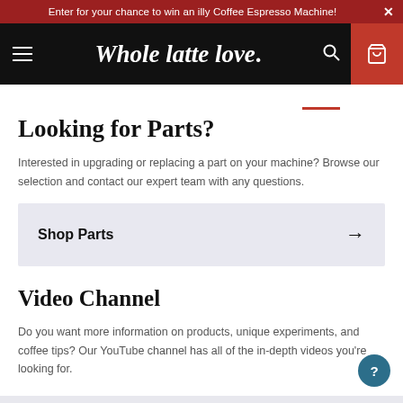Enter for your chance to win an illy Coffee Espresso Machine! ×
[Figure (screenshot): Whole latte love. website navigation bar with hamburger menu, logo, search icon, and cart icon on dark background]
Looking for Parts?
Interested in upgrading or replacing a part on your machine? Browse our selection and contact our expert team with any questions.
Shop Parts →
Video Channel
Do you want more information on products, unique experiments, and coffee tips? Our YouTube channel has all of the in-depth videos you're looking for.